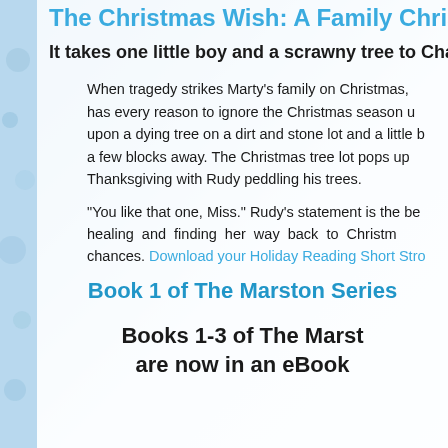The Christmas Wish: A Family Chris...
It takes one little boy and a scrawny tree to Char...
When tragedy strikes Marty's family on Christmas, has every reason to ignore the Christmas season u upon a dying tree on a dirt and stone lot and a little b a few blocks away. The Christmas tree lot pops up Thanksgiving with Rudy peddling his trees.
"You like that one, Miss." Rudy's statement is the be healing and finding her way back to Christm chances. Download your Holiday Reading Short Stro
Book 1 of The Marston Series
Books 1-3 of The Marst are now in an eBook